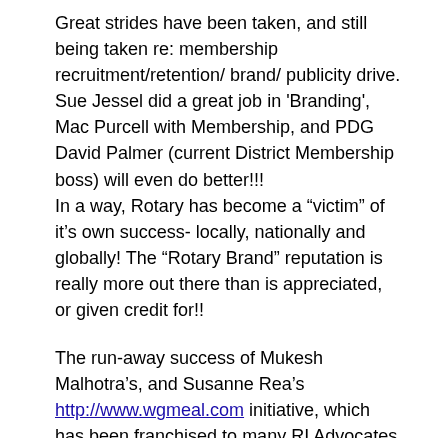Great strides have been taken, and still being taken re: membership recruitment/retention/ brand/ publicity drive. Sue Jessel did a great job in 'Branding', Mac Purcell with Membership, and PDG David Palmer (current District Membership boss) will even do better!!! In a way, Rotary has become a "victim" of it's own success- locally, nationally and globally! The "Rotary Brand" reputation is really more out there than is appreciated, or given credit for!!
The run-away success of Mukesh Malhotra's, and Susanne Rea's http://www.wgmeal.com initiative, which has been franchised to many RI Advocates in different countries is unquestionable. Like Rotary itself, a typical Project that outgrew it's founders, and it's management taken over at the highest Rotary Organisational level.
My own contribution to sharing Rotary